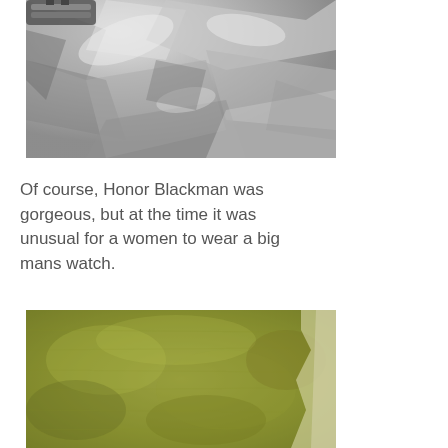[Figure (photo): Close-up photo of crumpled metallic foil or fabric, showing a watch clasp or metal clip at the top, with silver/grey tones and shadows.]
Of course, Honor Blackman was gorgeous, but at the time it was unusual for a women to wear a big mans watch.
[Figure (photo): Close-up photo of a piece of olive green / khaki colored textile or fabric material, appearing worn or aged.]